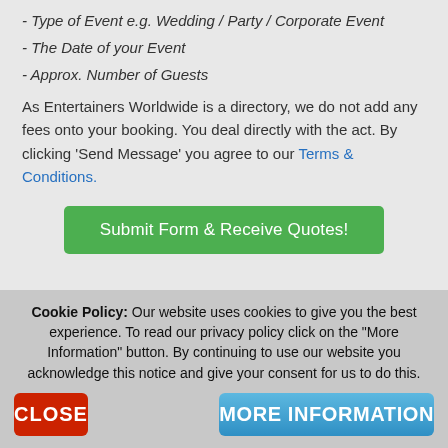- Type of Event e.g. Wedding / Party / Corporate Event
- The Date of your Event
- Approx. Number of Guests
As Entertainers Worldwide is a directory, we do not add any fees onto your booking. You deal directly with the act. By clicking 'Send Message' you agree to our Terms & Conditions.
Submit Form & Receive Quotes!
Related Blog posts...
Cookie Policy: Our website uses cookies to give you the best experience. To read our privacy policy click on the "More Information" button. By continuing to use our website you acknowledge this notice and give your consent for us to do this.
CLOSE
MORE INFORMATION